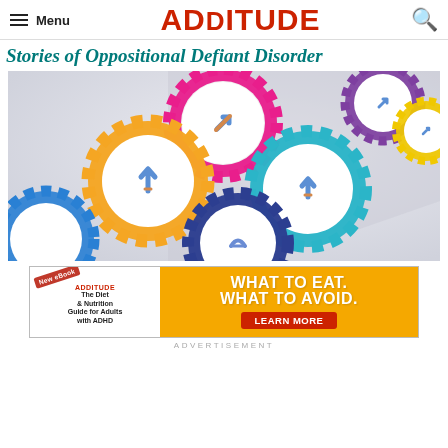Menu | ADDITURE
Stories of Oppositional Defiant Disorder
[Figure (illustration): Colorful interlocking gears (pink, orange, teal, dark blue, purple, yellow) with arrows, on a light gray background — decorative illustration]
[Figure (infographic): Advertisement banner: ADDitude eBook — The Diet & Nutrition Guide for Adults with ADHD. Right side: WHAT TO EAT. WHAT TO AVOID. LEARN MORE button on orange background.]
ADVERTISEMENT